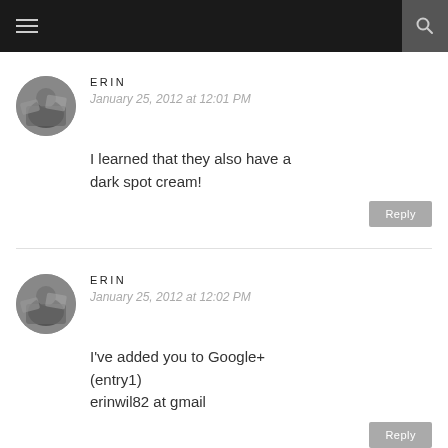Navigation menu and search
ERIN
January 25, 2012 at 12:01 PM
I learned that they also have a dark spot cream!
ERIN
January 25, 2012 at 12:02 PM
I've added you to Google+ (entry1)
erinwil82 at gmail